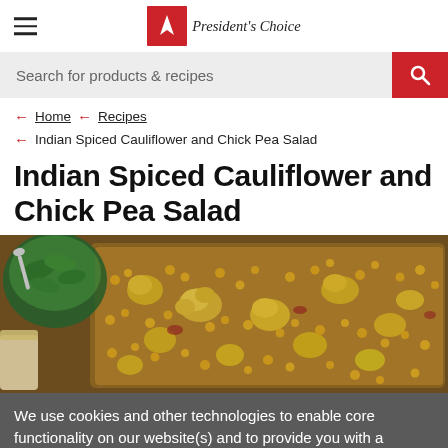President's Choice
Search for products & recipes
← Home ← Recipes
← Indian Spiced Cauliflower and Chick Pea Salad
Indian Spiced Cauliflower and Chick Pea Salad
[Figure (photo): A baking tray filled with Indian spiced roasted cauliflower and chick peas, golden-yellow in color, with a bowl of green salad leaves visible in the top-left corner.]
We use cookies and other technologies to enable core functionality on our website(s) and to provide you with a personalized experience. For more information on cookies...